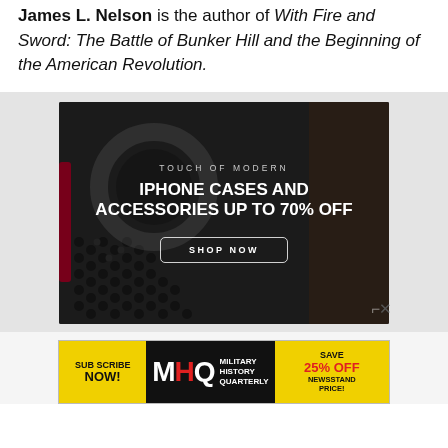James L. Nelson is the author of With Fire and Sword: The Battle of Bunker Hill and the Beginning of the American Revolution.
[Figure (screenshot): Advertisement for Touch of Modern: iPhone cases and accessories up to 70% off, with a SHOP NOW button. Background shows a close-up of a dark textured phone case.]
[Figure (screenshot): Advertisement banner for Military History Quarterly magazine: Subscribe Now! Save 25% off newsstand price. Yellow and black design with MHQ logo.]